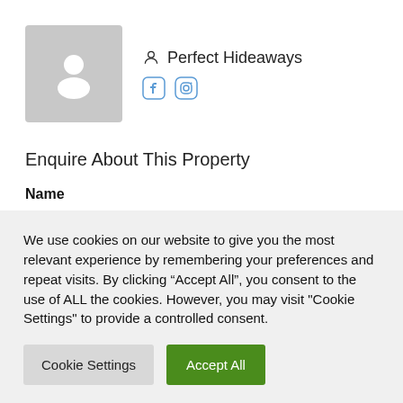[Figure (illustration): Profile avatar placeholder — gray square with white person silhouette icon]
Perfect Hideaways
[Figure (illustration): Social media icons: Facebook and Instagram]
Enquire About This Property
Name
We use cookies on our website to give you the most relevant experience by remembering your preferences and repeat visits. By clicking “Accept All”, you consent to the use of ALL the cookies. However, you may visit "Cookie Settings" to provide a controlled consent.
Cookie Settings
Accept All